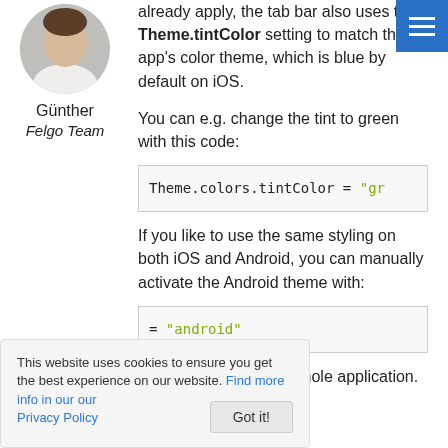[Figure (photo): Circular avatar photo of Günther, partially cropped at top]
Günther
Felgo Team
already apply, the tab bar also uses the Theme.tintColor setting to match the app's color theme, which is blue by default on iOS.
You can e.g. change the tint to green with this code:
Theme.colors.tintColor = "gr
If you like to use the same styling on both iOS and Android, you can manually activate the Android theme with:
= "android"
Android theme to the whole application. Switching the
This website uses cookies to ensure you get the best experience on our website. Find more info in our Privacy Policy